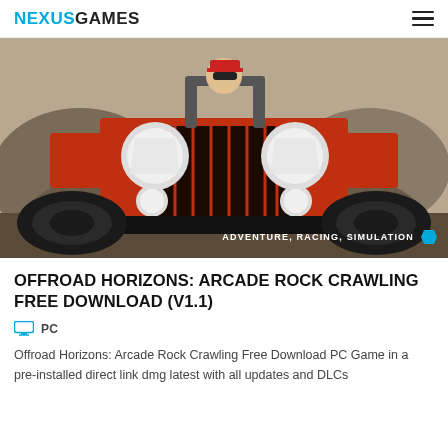NEXUSGAMES
[Figure (photo): Front view of a stylized orange off-road jeep/rock crawler vehicle with large tires, white circular headlights, dark grille, and a character wearing sunglasses in the driver seat. Background shows rocky terrain. Tags overlay in bottom right: ADVENTURE, RACING, SIMULATION with a blue tag icon.]
OFFROAD HORIZONS: ARCADE ROCK CRAWLING FREE DOWNLOAD (V1.1)
PC
Offroad Horizons: Arcade Rock Crawling Free Download PC Game in a pre-installed direct link dmg latest with all updates and DLCs